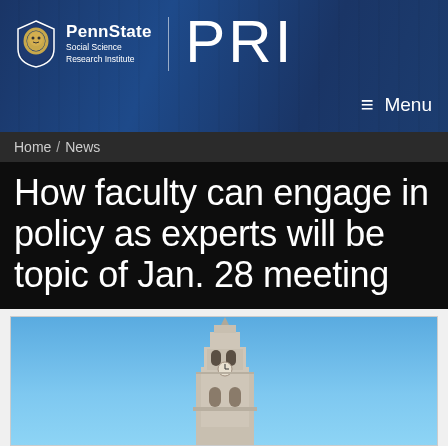PennState Social Science Research Institute | PRI
≡ Menu
Home / News
How faculty can engage in policy as experts will be topic of Jan. 28 meeting
[Figure (photo): A photo of a university bell tower against a blue sky, likely Old Main at Penn State University.]